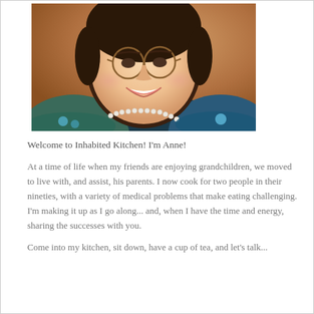[Figure (photo): Portrait photo of a smiling woman with glasses, dark hair, wearing a pearl necklace and a floral top, photographed against a warm brown background.]
Welcome to Inhabited Kitchen! I'm Anne!
At a time of life when my friends are enjoying grandchildren, we moved to live with, and assist, his parents. I now cook for two people in their nineties, with a variety of medical problems that make eating challenging. I'm making it up as I go along... and, when I have the time and energy, sharing the successes with you.
Come into my kitchen, sit down, have a cup of tea, and let's talk...